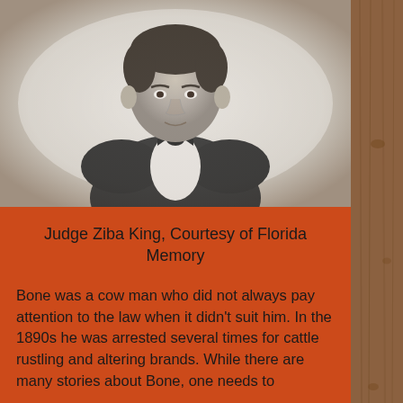[Figure (photo): Black and white portrait photograph of Judge Ziba King, a man in a dark suit with a bow tie, shown from the chest up against a light vignette background.]
Judge Ziba King, Courtesy of Florida Memory
Bone was a cow man who did not always pay attention to the law when it didn't suit him. In the 1890s he was arrested several times for cattle rustling and altering brands. While there are many stories about Bone, one needs to